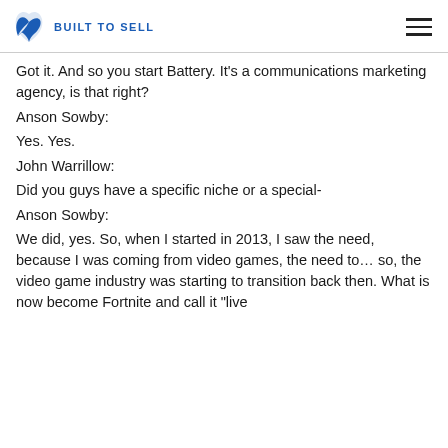BUILT TO SELL
Got it. And so you start Battery. It’s a communications marketing agency, is that right?
Anson Sowby:
Yes. Yes.
John Warrillow:
Did you guys have a specific niche or a special-
Anson Sowby:
We did, yes. So, when I started in 2013, I saw the need, because I was coming from video games, the need to… so, the video game industry was starting to transition back then. What is now become Fortnite and call it “live